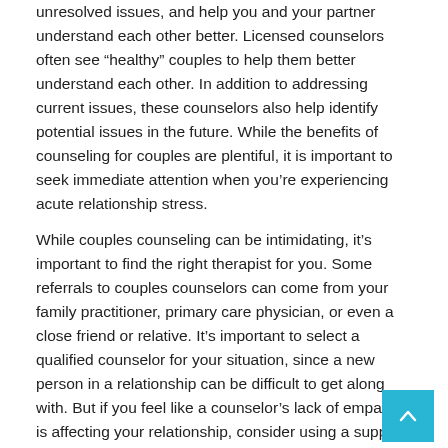unresolved issues, and help you and your partner understand each other better. Licensed counselors often see “healthy” couples to help them better understand each other. In addition to addressing current issues, these counselors also help identify potential issues in the future. While the benefits of counseling for couples are plentiful, it is important to seek immediate attention when you’re experiencing acute relationship stress.
While couples counseling can be intimidating, it’s important to find the right therapist for you. Some referrals to couples counselors can come from your family practitioner, primary care physician, or even a close friend or relative. It’s important to select a qualified counselor for your situation, since a new person in a relationship can be difficult to get along with. But if you feel like a counselor’s lack of empathy is affecting your relationship, consider using a support group instead.